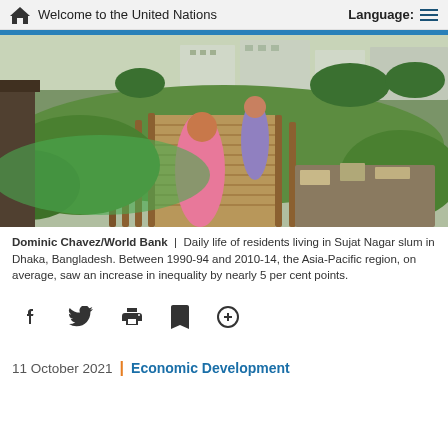Welcome to the United Nations
[Figure (photo): Daily life of residents living in Sujat Nagar slum in Dhaka, Bangladesh. Children walking on a wooden boardwalk through a green area with litter and urban buildings in the background.]
Dominic Chavez/World Bank | Daily life of residents living in Sujat Nagar slum in Dhaka, Bangladesh. Between 1990-94 and 2010-14, the Asia-Pacific region, on average, saw an increase in inequality by nearly 5 per cent points.
11 October 2021 | Economic Development